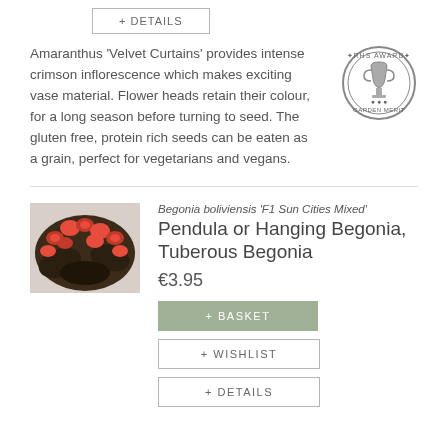+ DETAILS
Amaranthus 'Velvet Curtains' provides intense crimson inflorescence which makes exciting vase material. Flower heads retain their colour, for a long season before turning to seed. The gluten free, protein rich seeds can be eaten as a grain, perfect for vegetarians and vegans.
[Figure (logo): RHS Award of Garden Merit circular badge/stamp]
[Figure (photo): Photo of Begonia boliviensis F1 Sun Cities Mixed showing red hanging flowers]
Begonia boliviensis ‘F1 Sun Cities Mixed’
Pendula or Hanging Begonia, Tuberous Begonia
€3.95
+ BASKET
+ WISHLIST
+ DETAILS